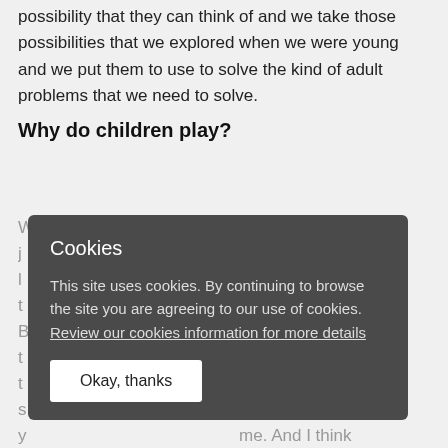possibility that they can think of and we take those possibilities that we explored when we were young and we put them to use to solve the kind of adult problems that we need to solve.
Why do children play?
W[obscured by overlay]hings is that we j[obscured]play. And if you l[obscured]n , one of the t[obscured]in life they play. B[obscured]ey would do t[obscured]s that play is t[obscured]work. It's s[obscured]something that y[obscured]me. And I think for many years that people who've worked closely with
Cookies

This site uses cookies. By continuing to browse the site you are agreeing to our use of cookies. Review our cookies information for more details

Okay, thanks